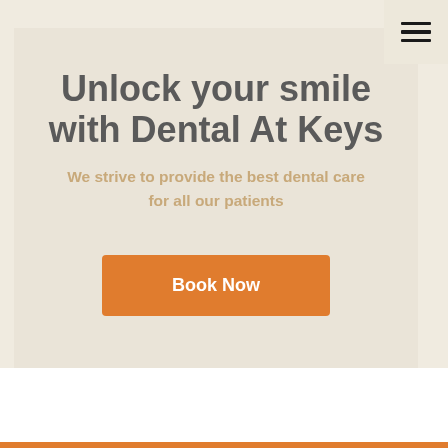[Figure (screenshot): Hamburger menu icon (three horizontal lines) in top-right corner on cream background]
Unlock your smile with Dental At Keys
We strive to provide the best dental care for all our patients
Book Now